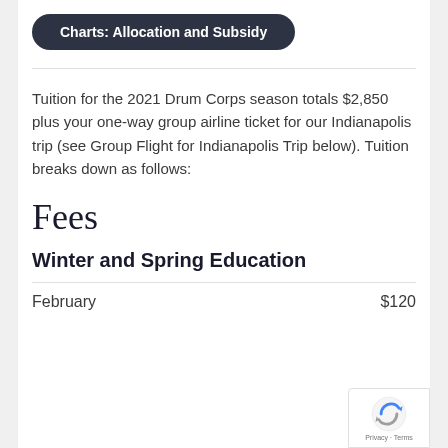Charts: Allocation and Subsidy
Tuition for the 2021 Drum Corps season totals $2,850 plus your one-way group airline ticket for our Indianapolis trip (see Group Flight for Indianapolis Trip below). Tuition breaks down as follows:
Fees
Winter and Spring Education
| Month | Amount |
| --- | --- |
| February | $120 |